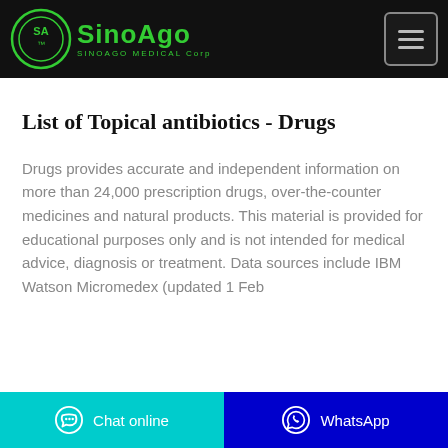SINOAGO MEDICAL Corp
List of Topical antibiotics - Drugs
Drugs provides accurate and independent information on more than 24,000 prescription drugs, over-the-counter medicines and natural products. This material is provided for educational purposes only and is not intended for medical advice, diagnosis or treatment. Data sources include IBM Watson Micromedex (updated 1 Feb